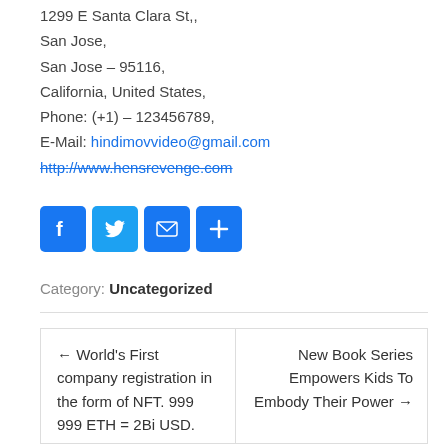1299 E Santa Clara St,,
San Jose,
San Jose – 95116,
California, United States,
Phone: (+1) – 123456789,
E-Mail: hindimovvideo@gmail.com
http://www.hensrevenge.com
[Figure (infographic): Four social share icon buttons: Facebook (blue F), Twitter (blue bird), Email (blue envelope), Share (blue plus)]
Category: Uncategorized
← World's First company registration in the form of NFT. 999 999 ETH = 2Bi USD.
New Book Series Empowers Kids To Embody Their Power →